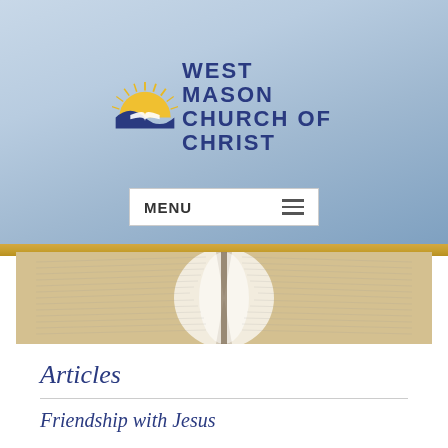[Figure (logo): West Mason Church of Christ logo with sun/open-book graphic and church name in dark blue bold text]
[Figure (screenshot): MENU navigation bar with hamburger icon, white background with border]
[Figure (photo): Open Bible book banner image, pages lit from above]
Articles
Friendship with Jesus